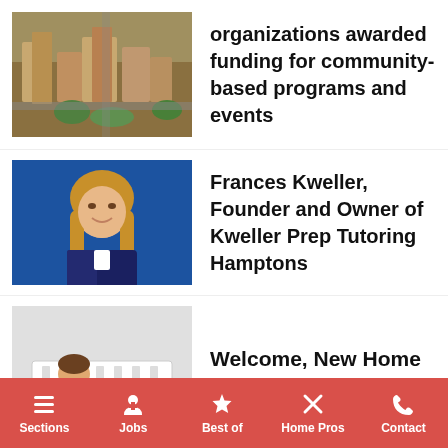[Figure (photo): Aerial view of urban buildings and streets with green trees]
organizations awarded funding for community-based programs and events
[Figure (photo): Professional photo of a woman with long blonde hair in a business suit against a blue background]
Frances Kweller, Founder and Owner of Kweller Prep Tutoring Hamptons
[Figure (photo): A worker in a blue shirt and yellow tool belt installing a white radiator on a wall]
Welcome, New Home Pros!